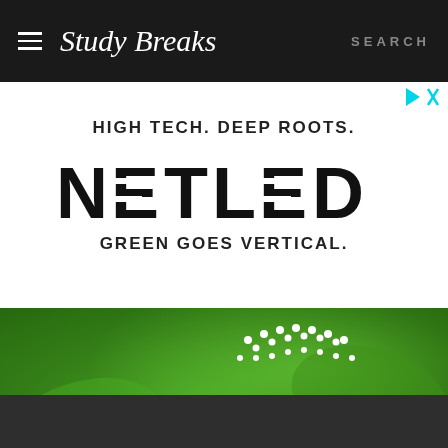Study Breaks | SEARCH
[Figure (screenshot): Advertisement area with ad icons (play and close buttons) in cyan/teal color]
HIGH TECH. DEEP ROOTS.
[Figure (logo): NETLED logo in large bold geometric sans-serif font, black on white]
GREEN GOES VERTICAL.
[Figure (photo): Green leafy plants (basil/herbs) closeup photo with white 'vera' logo overlaid with decorative dot crown pattern]